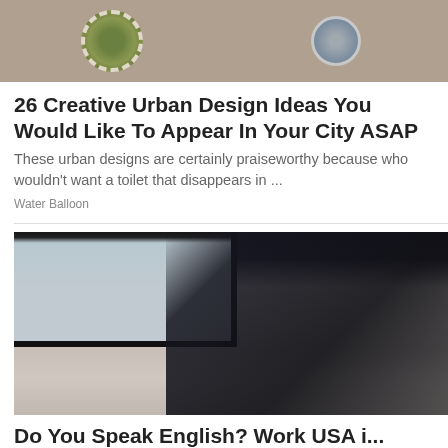[Figure (photo): Two side-by-side photos of urban design elements: left shows a circular decorative drain cover with green grass/plants set in brick paving, right shows a cylindrical metallic street fixture also set in brick paving]
26 Creative Urban Design Ideas You Would Like To Appear In Your City ASAP
These urban designs are certainly praiseworthy because who wouldn't want a toilet that disappears in ...
Water Balloon
[Figure (photo): Woman with dark hair sitting against a white wall below a window, wearing a dark t-shirt, typing on a silver laptop. She is looking down at the screen. A yellow object is visible near her lap.]
Do You Speak English? Work USA i...